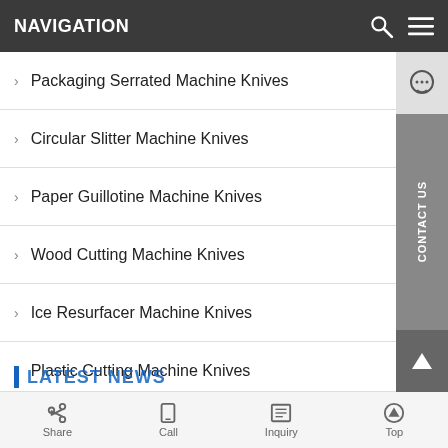NAVIGATION
Packaging Serrated Machine Knives
Circular Slitter Machine Knives
Paper Guillotine Machine Knives
Wood Cutting Machine Knives
Ice Resurfacer Machine Knives
Plastic Cutting Machine Knives
Food Cutting Machine Knives
Metal Cutting Machine Knives
Customized Special Machine Knives
LATEST NEWS
Share | Call | Inquiry | Top